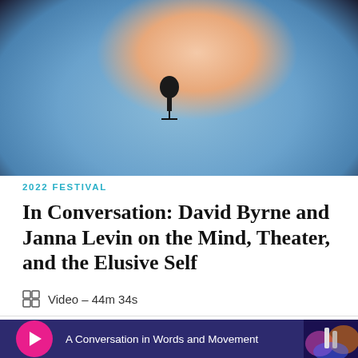[Figure (photo): Close-up photo of a person wearing a light blue shirt with a lavalier microphone clipped to it, dark background]
2022 FESTIVAL
In Conversation: David Byrne and Janna Levin on the Mind, Theater, and the Elusive Self
Video – 44m 34s
A Conversation in Words and Movement